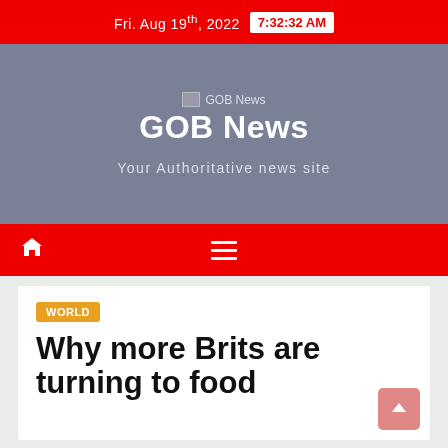Fri. Aug 19th, 2022  7:32:32 AM
GOB News
Your Authoritative news site
WORLD
Why more Brits are turning to food...